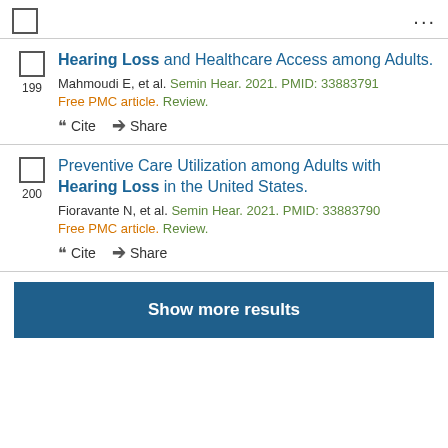199 Hearing Loss and Healthcare Access among Adults. Mahmoudi E, et al. Semin Hear. 2021. PMID: 33883791 Free PMC article. Review.
200 Preventive Care Utilization among Adults with Hearing Loss in the United States. Fioravante N, et al. Semin Hear. 2021. PMID: 33883790 Free PMC article. Review.
Show more results